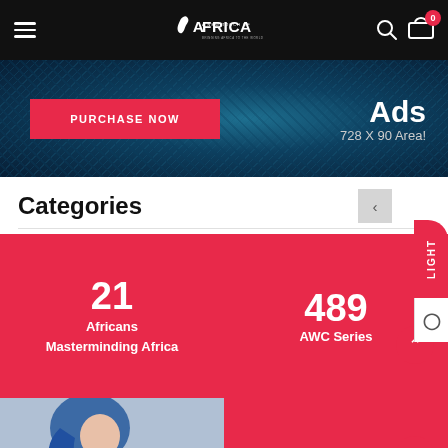A NEW TOUCH OF AFRICA — navigation header with hamburger menu, logo, search, and cart (0 items)
[Figure (screenshot): Ad banner with dark blue fabric background, PURCHASE NOW pink button on left, and Ads / 728 X 90 Area! text on right]
Categories
[Figure (infographic): Category card: 21 — Africans Masterminding Africa (pink/red card)]
[Figure (infographic): Category card: 489 — AWC Series (pink/red card)]
[Figure (illustration): Category card image: illustrated woman with blue hair]
[Figure (other): Category card: pink/red card (bottom right, partially visible)]